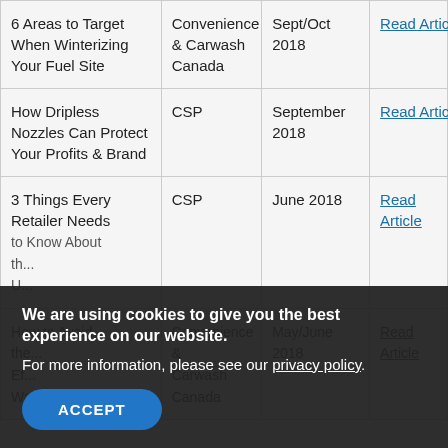| Article Title | Publication | Date | Link |
| --- | --- | --- | --- |
| 6 Areas to Target When Winterizing Your Fuel Site | Convenience & Carwash Canada | Sept/Oct 2018 | Read Article |
| How Dripless Nozzles Can Protect Your Profits & Brand | CSP | September 2018 | Read Article |
| 3 Things Every Retailer Needs to Know About the... | CSP | June 2018 | Read Article |
| How to Avoid the... Ef... Water Intrusion | Convenience & Carwash Canada | May/June 2018 | Read Article |
We are using cookies to give you the best experience on our website.
For more information, please see our privacy policy.
ACCEPT